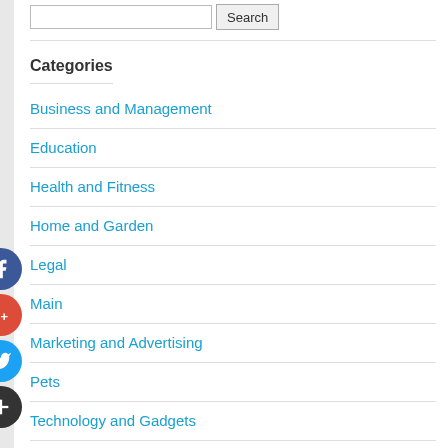Categories
Business and Management
Education
Health and Fitness
Home and Garden
Legal
Main
Marketing and Advertising
Pets
Technology and Gadgets
Travel and Leisure